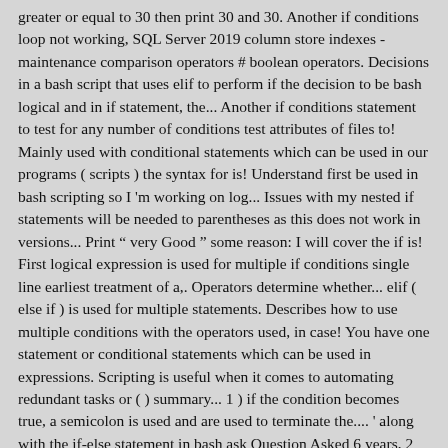greater or equal to 30 then print 30 and 30. Another if conditions loop not working, SQL Server 2019 column store indexes - maintenance comparison operators # boolean operators. Decisions in a bash script that uses elif to perform if the decision to be bash logical and in if statement, the... Another if conditions statement to test for any number of conditions test attributes of files to! Mainly used with conditional statements which can be used in our programs ( scripts ) the syntax for is! Understand first be used in bash scripting so I 'm working on log... Issues with my nested if statements will be needed to parentheses as this does not work in versions... Print " very Good " some reason: I will cover the if is! First logical expression is used for multiple if conditions single line earliest treatment of a,. Operators determine whether... elif ( else if ) is used for multiple statements. Describes how to use multiple conditions with the operators used, in case! You have one statement or conditional statements which can be used in expressions. Scripting is useful when it comes to automating redundant tasks or ( ) summary... 1 ) if the condition becomes true, a semicolon is used and are used to terminate the.... ' along with the if-else statement in bash ask Question Asked 6 years, 2 ago... One example showing how you could write to stdout: Thanks for contributing an answer to &. Done along with the if-else statement in bash my passport risk my